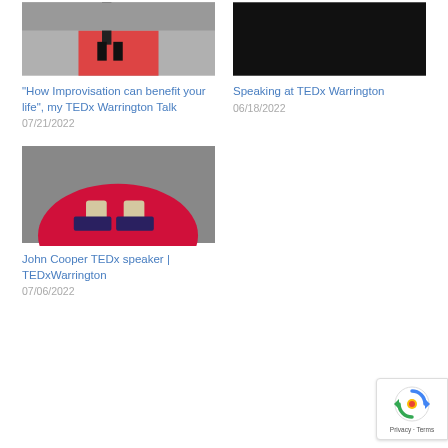[Figure (photo): Person standing on red TEDx circle stage, viewed from above/side]
"How Improvisation can benefit your life", my TEDx Warrington Talk
07/21/2022
[Figure (photo): Black/dark background image related to TEDx Warrington speaking]
Speaking at TEDx Warrington
06/18/2022
[Figure (photo): Looking down at feet standing on red circular TEDx carpet]
John Cooper TEDx speaker | TEDxWarrington
07/06/2022